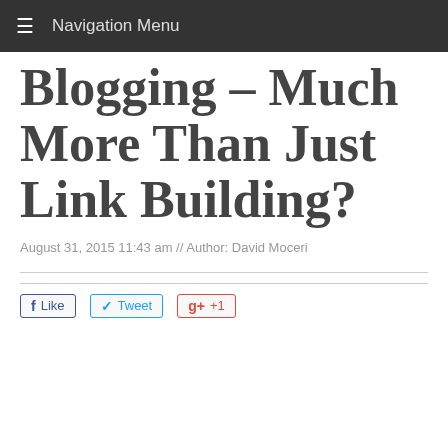≡ Navigation Menu
Blogging – Much More Than Just Link Building?
August 31, 2015 11:43 am // Author: David Moceri